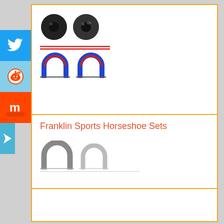[Figure (photo): Two black circular discs (horseshoe stakes or weights) above two colorful horseshoes (red/blue arch shapes) - product images for Franklin Sports Horseshoe Sets]
Franklin Sports Horseshoe Sets
[Figure (photo): Two gray horseshoe shapes - product image for Franklin Sports Horseshoe Sets]